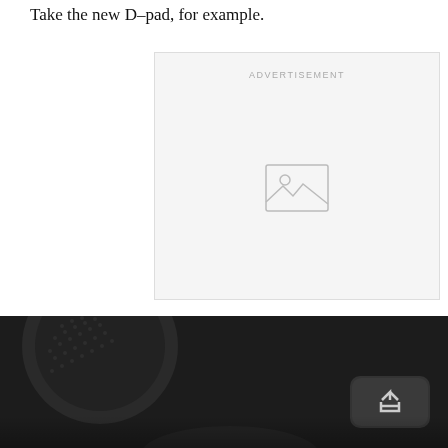Take the new D-pad, for example.
[Figure (other): Advertisement placeholder box with image icon in center and 'ADVERTISEMENT' label at top]
[Figure (photo): Close-up photo of a dark game controller showing textured analog stick, buttons, and a share/upload button on black surface]